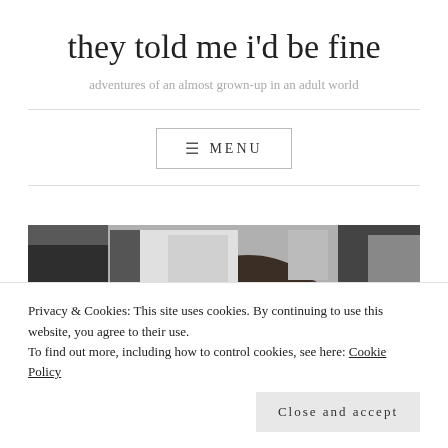they told me i'd be fine
adventures of an almost grown-up in an adult world
☰ MENU
[Figure (photo): Black and white photo of a person with dark hair viewed from behind, appearing to be in an indoor setting]
Privacy & Cookies: This site uses cookies. By continuing to use this website, you agree to their use.
To find out more, including how to control cookies, see here: Cookie Policy
Close and accept